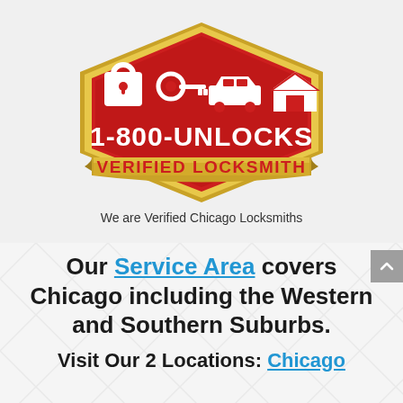[Figure (logo): 1-800-UNLOCKS Verified Locksmith badge/shield logo with red shield, gold banner, padlock icon, key icon, car icon, and house icon]
We are Verified Chicago Locksmiths
Our Service Area covers Chicago including the Western and Southern Suburbs.
Visit Our 2 Locations: Chicago